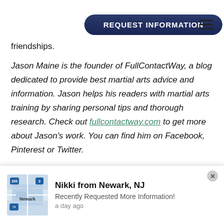REQUEST INFORMATION
friendships.
Jason Maine is the founder of FullContactWay, a blog dedicated to provide best martial arts advice and information. Jason helps his readers with martial arts training by sharing personal tips and thorough research. Check out fullcontactway.com to get more about Jason's work. You can find him on Facebook, Pinterest or Twitter.
Share this post!
[Figure (other): Two social sharing icon circles (blue)]
Nikki from Newark, NJ
Recently Requested More Information!
a day ago